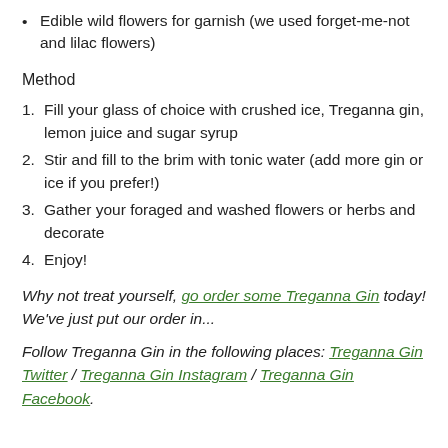Edible wild flowers for garnish (we used forget-me-not and lilac flowers)
Method
1. Fill your glass of choice with crushed ice, Treganna gin, lemon juice and sugar syrup
2. Stir and fill to the brim with tonic water (add more gin or ice if you prefer!)
3. Gather your foraged and washed flowers or herbs and decorate
4. Enjoy!
Why not treat yourself, go order some Treganna Gin today! We've just put our order in...
Follow Treganna Gin in the following places: Treganna Gin Twitter / Treganna Gin Instagram / Treganna Gin Facebook.